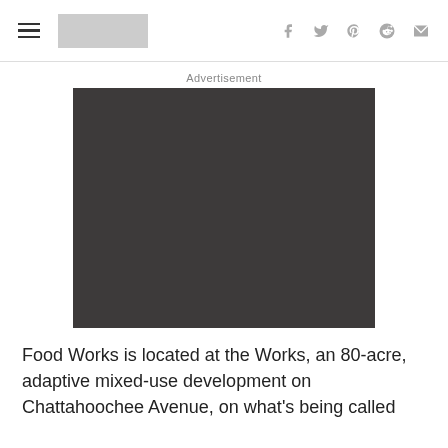≡ [logo] f 🐦 p reddit ✉
Advertisement
[Figure (other): Dark gray advertisement block placeholder]
Food Works is located at the Works, an 80-acre, adaptive mixed-use development on Chattahoochee Avenue, on what's being called